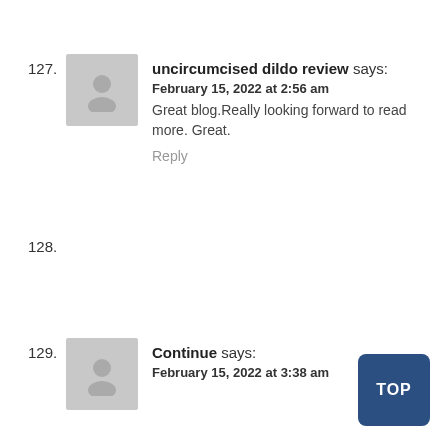127. uncircumcised dildo review says: February 15, 2022 at 2:56 am
Great blog.Really looking forward to read more. Great.
Reply
128.
129. Continue says: February 15, 2022 at 3:38 am